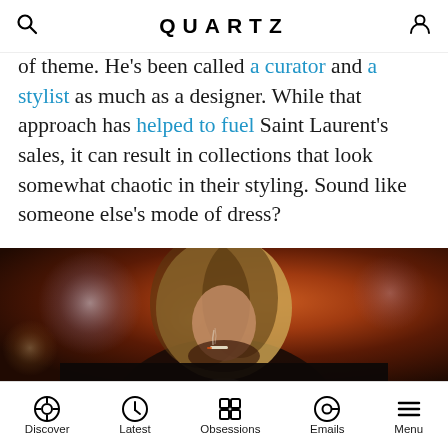QUARTZ
of theme. He's been called a curator and a stylist as much as a designer. While that approach has helped to fuel Saint Laurent's sales, it can result in collections that look somewhat chaotic in their styling. Sound like someone else's mode of dress?
[Figure (photo): Photo of a person with long blonde hair looking downward while smoking a cigarette, warm orange/red stage lighting with bokeh circles in background, wearing a dark jacket over white t-shirt]
Discover | Latest | Obsessions | Emails | Menu